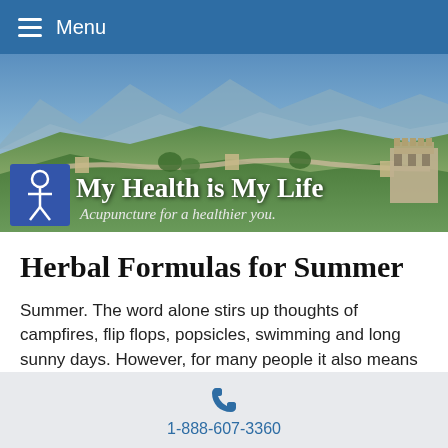Menu
[Figure (photo): Banner image showing the Great Wall of China with mountains in the background. Overlaid text reads 'My Health is My Life' and 'Acupuncture for a healthier you.' with an accessibility icon on the left.]
Herbal Formulas for Summer
Summer. The word alone stirs up thoughts of campfires, flip flops, popsicles, swimming and long sunny days. However, for many people it also means sunburns, mosquito bites and excessive sweating. Fortunately, there are lots of ways to deal with all of
1-888-607-3360